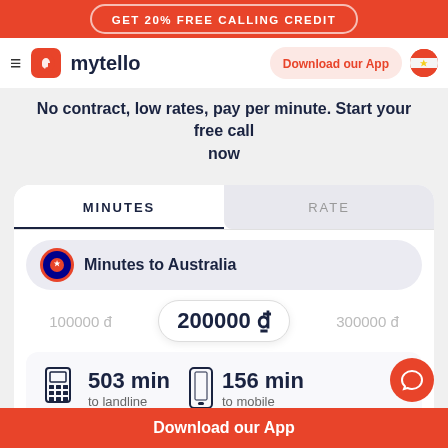GET 20% FREE CALLING CREDIT
[Figure (logo): Mytello logo with hamburger menu, app icon, and navigation bar with Download our App button and Vietnam flag]
No contract, low rates, pay per minute. Start your free call now
MINUTES	RATE
Minutes to Australia
100000 đ	200000 đ	300000 đ
503 min to landline	156 min to mobile
Download our App